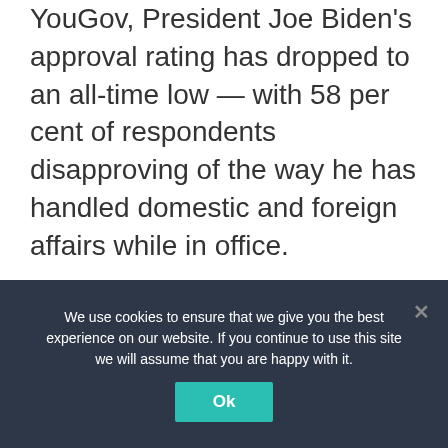YouGov, President Joe Biden's approval rating has dropped to an all-time low — with 58 per cent of respondents disapproving of the way he has handled domestic and foreign affairs while in office.
Read the full story here:
Maroosha Muzaffar12 April 2022 07:25
We use cookies to ensure that we give you the best experience on our website. If you continue to use this site we will assume that you are happy with it.